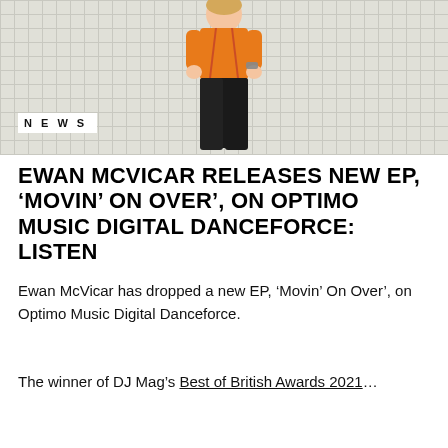[Figure (photo): Person wearing an orange t-shirt and black pants standing against a white grid-pattern background]
NEWS
EWAN MCVICAR RELEASES NEW EP, ‘MOVIN’ ON OVER’, ON OPTIMO MUSIC DIGITAL DANCEFORCE: LISTEN
Ewan McVicar has dropped a new EP, ‘Movin’ On Over’, on Optimo Music Digital Danceforce.
The winner of DJ Mag’s Best of British Awards 2021…